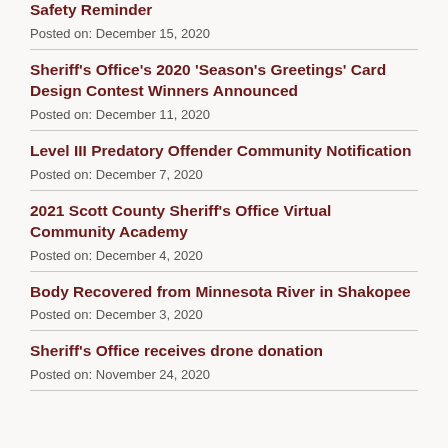Safety Reminder
Posted on: December 15, 2020
Sheriff’s Office’s 2020 ‘Season’s Greetings’ Card Design Contest Winners Announced
Posted on: December 11, 2020
Level III Predatory Offender Community Notification
Posted on: December 7, 2020
2021 Scott County Sheriff’s Office Virtual Community Academy
Posted on: December 4, 2020
Body Recovered from Minnesota River in Shakopee
Posted on: December 3, 2020
Sheriff’s Office receives drone donation
Posted on: November 24, 2020